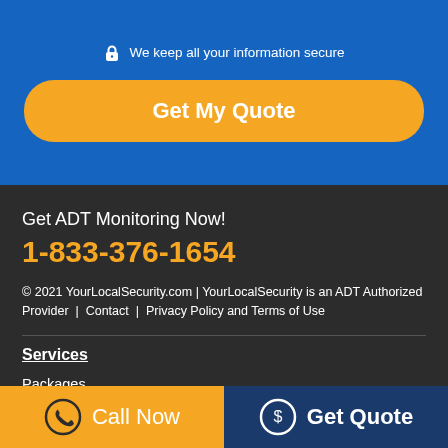We keep all your information secure
Get My Quote
Get ADT Monitoring Now!
1-833-376-1654
© 2021 YourLocalSecurity.com | YourLocalSecurity is an ADT Authorized Provider | Contact | Privacy Policy and Terms of Use
Services
Packages
Special Offers
Call Now   Get Quote